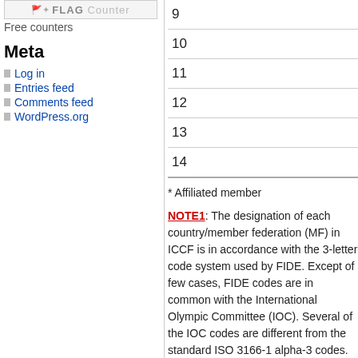[Figure (logo): Flag Counter banner logo with flags icon and text FLAG Counter]
Free counters
Meta
Log in
Entries feed
Comments feed
WordPress.org
9
10
11
12
13
14
* Affiliated member
NOTE1: The designation of each country/member federation (MF) in ICCF is in accordance with the 3-letter code system used by FIDE. Except of few cases, FIDE codes are in common with the International Olympic Committee (IOC). Several of the IOC codes are different from the standard ISO 3166-1 alpha-3 codes.
NOTE2: Several historical NOCs (National Olympic Committees) or teams have codes that are still used in the IOC results database to refer to past medal winners from these teams. For example: